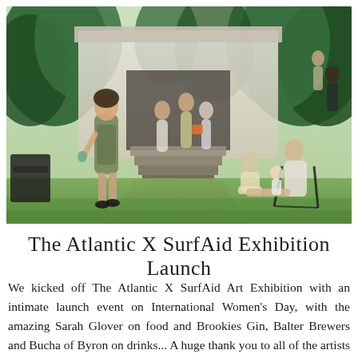[Figure (photo): Outdoor garden party scene at a house with tropical plants. A woman in a green apron walks toward the camera smiling, holding a drink. Several other guests are visible: some walking down steps from the house, a couple sitting on lawn chairs on the right, and others socializing in the background. The setting has a wooden deck path, green lawn, and lush palm/tropical foliage.]
The Atlantic X SurfAid Exhibition Launch
We kicked off The Atlantic X SurfAid Art Exhibition with an intimate launch event on International Women's Day, with the amazing Sarah Glover on food and Brookies Gin, Balter Brewers and Bucha of Byron on drinks... A huge thank you to all of the artists that generously donated their artwork in support